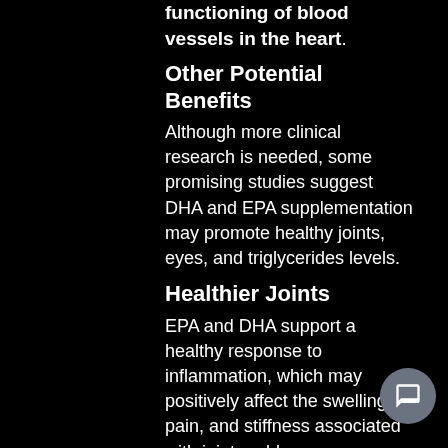functioning of blood vessels in the heart.
Other Potential Benefits
Although more clinical research is needed, some promising studies suggest DHA and EPA supplementation may promote healthy joints, eyes, and triglycerides levels.
Healthier Joints
EPA and DHA support a healthy response to inflammation, which may positively affect the swelling, pain, and stiffness associated with joint problems or over-use.⁸
Better Eye Lubrication
Fish oil is often recommended to those with dry eyes. Although the